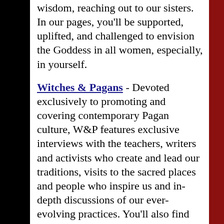wisdom, reaching out to our sisters. In our pages, you'll be supported, uplifted, and challenged to envision the Goddess in all women, especially, in yourself.
Witches & Pagans - Devoted exclusively to promoting and covering contemporary Pagan culture, W&P features exclusive interviews with the teachers, writers and activists who create and lead our traditions, visits to the sacred places and people who inspire us and in-depth discussions of our ever-evolving practices. You'll also find practical daily magic, ideas for solitary ritual and devotion, God/dess-friendly craft-projects, Pagan poetry and short fiction, reviews, and much more in every 96-page issue. Witches&Pagans is available in either a traditional paper copy sent by postal mail or as a digital PDF-eZine